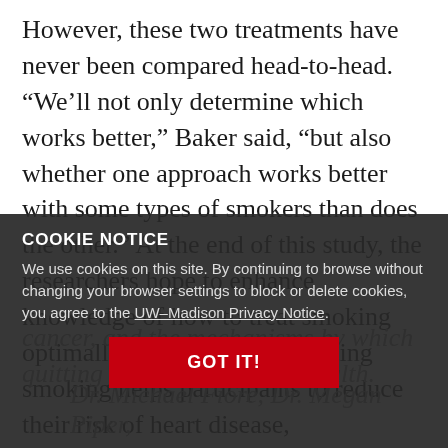However, these two treatments have never been compared head-to-head. “We’ll not only determine which works better,” Baker said, “but also whether one approach works better with some types of smokers than does the other.” At the end of this study, the researchers hope to enhance knowledge of how to treat smoking optimally, as well as how quitting smoking helps participants to reduce their risk of heart disease,
cancer, and the mechanisms by which quitting smoking improves health.
COOKIE NOTICE
We use cookies on this site. By continuing to browse without changing your browser settings to block or delete cookies, you agree to the UW–Madison Privacy Notice.
GOT IT!